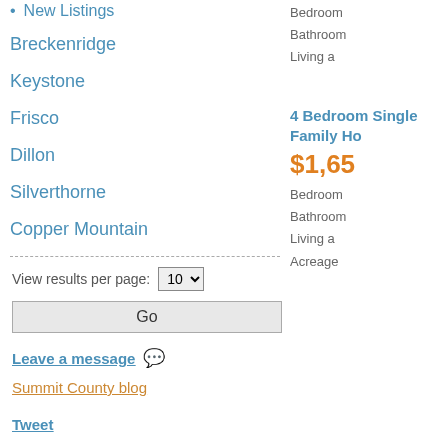New Listings
Breckenridge
Keystone
Frisco
Dillon
Silverthorne
Copper Mountain
View results per page: 10
Go
Leave a message
Summit County blog
Tweet
Bedroom
Bathroom
Living a
4 Bedroom Single Family Ho
$1,65
Bedroom
Bathroom
Living a
Acreage